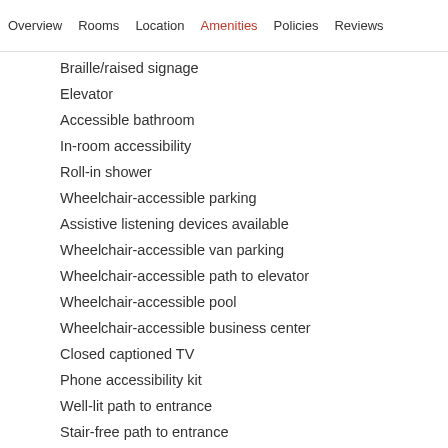Overview  Rooms  Location  Amenities  Policies  Reviews
Braille/raised signage
Elevator
Accessible bathroom
In-room accessibility
Roll-in shower
Wheelchair-accessible parking
Assistive listening devices available
Wheelchair-accessible van parking
Wheelchair-accessible path to elevator
Wheelchair-accessible pool
Wheelchair-accessible business center
Closed captioned TV
Phone accessibility kit
Well-lit path to entrance
Stair-free path to entrance